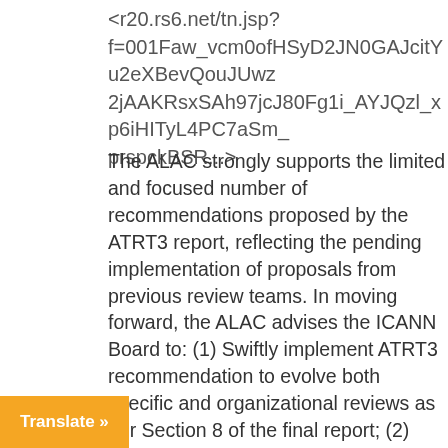<r20.rs6.net/tn.jsp?f=001Faw_vcm0ofHSyD2JN0GAJcitYu2eXBevQouJUwz2jAAKRsxSAh97jcJ80Fg1i_AYJQzl_xp6iHITyL4PC7aSm_prspckBSR...>
The ALAC strongly supports the limited and focused number of recommendations proposed by the ATRT3 report, reflecting the pending implementation of proposals from previous review teams. In moving forward, the ALAC advises the ICANN Board to: (1) Swiftly implement ATRT3 recommendation to evolve both specific and organizational reviews as per Section 8 of the final report; (2) Fully endorse the recommendation to enhance current methods of Prioritization and Rationalization of policies, and Recommendations (as per
Translate »